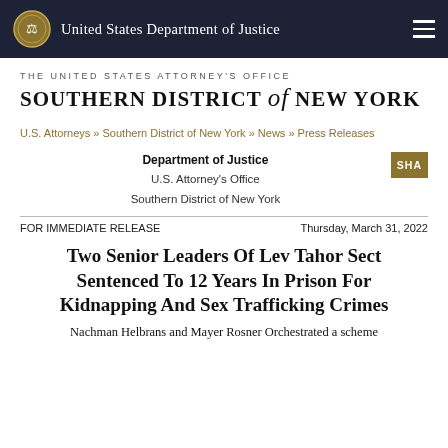United States Department of Justice
THE UNITED STATES ATTORNEY'S OFFICE
SOUTHERN DISTRICT of NEW YORK
U.S. Attorneys » Southern District of New York » News » Press Releases
Department of Justice
U.S. Attorney's Office
Southern District of New York
FOR IMMEDIATE RELEASE
Thursday, March 31, 2022
Two Senior Leaders Of Lev Tahor Sect Sentenced To 12 Years In Prison For Kidnapping And Sex Trafficking Crimes
Nachman Helbrans and Mayer Rosner Orchestrated a scheme